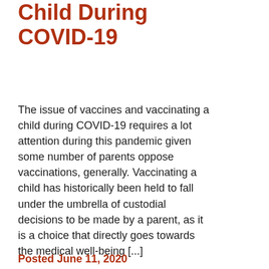Child During COVID-19
The issue of vaccines and vaccinating a child during COVID-19 requires a lot attention during this pandemic given some number of parents oppose vaccinations, generally. Vaccinating a child has historically been held to fall under the umbrella of custodial decisions to be made by a parent, as it is a choice that directly goes towards the medical well-being [...]
Posted June 11, 2020